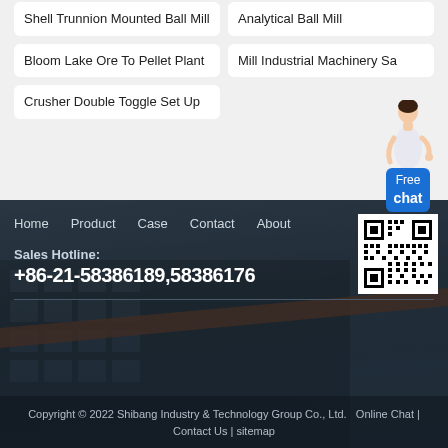Shell Trunnion Mounted Ball Mill
Analytical Ball Mill
Bloom Lake Ore To Pellet Plant
Mill Industrial Machinery Sa
Crusher Double Toggle Set Up
[Figure (other): Free chat widget with female avatar and blue button labeled Free chat]
[Figure (other): Dark footer background showing industrial building with diagonal orange stripe]
Home   Product   Case   Contact   About
[Figure (other): QR code square]
Sales Hotline:
+86-21-58386189,58386176
Copyright © 2022 Shibang Industry & Technology Group Co., Ltd.   Online Chat | Contact Us | sitemap